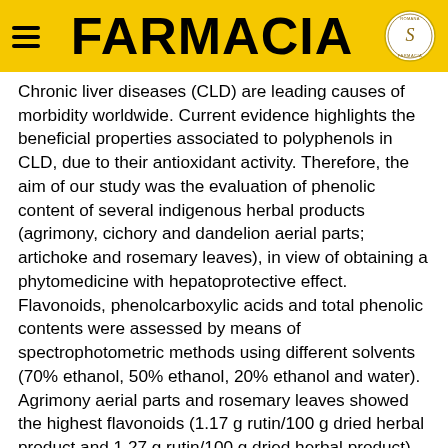FARMACIA
Chronic liver diseases (CLD) are leading causes of morbidity worldwide. Current evidence highlights the beneficial properties associated to polyphenols in CLD, due to their antioxidant activity. Therefore, the aim of our study was the evaluation of phenolic content of several indigenous herbal products (agrimony, cichory and dandelion aerial parts; artichoke and rosemary leaves), in view of obtaining a phytomedicine with hepatoprotective effect. Flavonoids, phenolcarboxylic acids and total phenolic contents were assessed by means of spectrophotometric methods using different solvents (70% ethanol, 50% ethanol, 20% ethanol and water). Agrimony aerial parts and rosemary leaves showed the highest flavonoids (1.17 g rutin/100 g dried herbal product and 1.27 g rutin/100 g dried herbal product) and phenolcarboxylic acids contents (6.55 g chlorogenic acid/100 g dried herbal product and 5.67 g chlorogenic acid/100 g dried herbal product). Moreover, according to